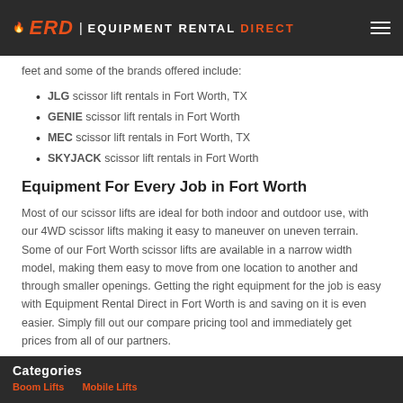ERD | EQUIPMENT RENTAL DIRECT
feet and some of the brands offered include:
JLG scissor lift rentals in Fort Worth, TX
GENIE scissor lift rentals in Fort Worth
MEC scissor lift rentals in Fort Worth, TX
SKYJACK scissor lift rentals in Fort Worth
Equipment For Every Job in Fort Worth
Most of our scissor lifts are ideal for both indoor and outdoor use, with our 4WD scissor lifts making it easy to maneuver on uneven terrain. Some of our Fort Worth scissor lifts are available in a narrow width model, making them easy to move from one location to another and through smaller openings. Getting the right equipment for the job is easy with Equipment Rental Direct in Fort Worth is and saving on it is even easier. Simply fill out our compare pricing tool and immediately get prices from all of our partners.
Categories